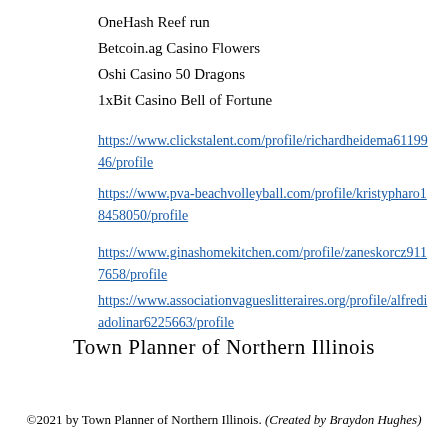OneHash Reef run
Betcoin.ag Casino Flowers
Oshi Casino 50 Dragons
1xBit Casino Bell of Fortune
https://www.clickstalent.com/profile/richardheidema6119946/profile
https://www.pva-beachvolleyball.com/profile/kristypharo18458050/profile
https://www.ginashomekitchen.com/profile/zaneskorcz9117658/profile
https://www.associationvagueslitteraires.org/profile/alfrediadolinar6225663/profile
Town Planner of Northern Illinois
©2021 by Town Planner of Northern Illinois. (Created by Braydon Hughes)